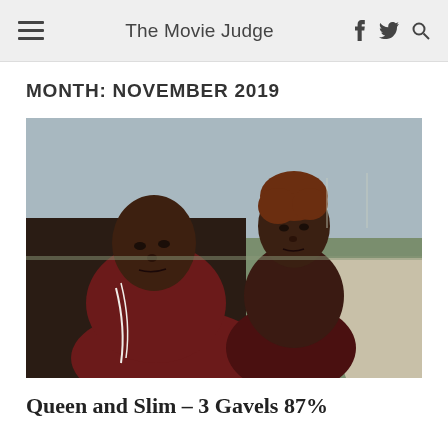The Movie Judge
MONTH: NOVEMBER 2019
[Figure (photo): Film still from Queen and Slim showing two people — a man in a dark red tracksuit in the foreground and a woman behind him — looking toward the camera against an outdoor rural background.]
Queen and Slim – 3 Gavels 87%